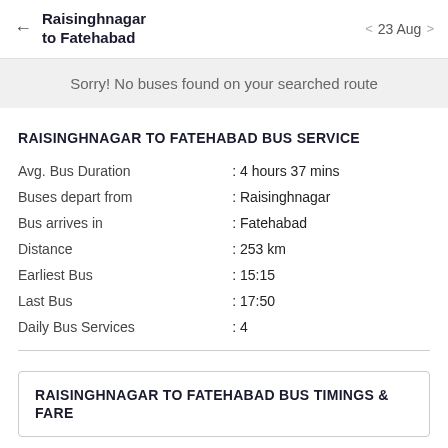← Raisinghnagar to Fatehabad  < 23 Aug >
Sorry! No buses found on your searched route
RAISINGHNAGAR TO FATEHABAD BUS SERVICE
|  |  |
| --- | --- |
| Avg. Bus Duration | : 4 hours 37 mins |
| Buses depart from | : Raisinghnagar |
| Bus arrives in | : Fatehabad |
| Distance | : 253 km |
| Earliest Bus | : 15:15 |
| Last Bus | : 17:50 |
| Daily Bus Services | : 4 |
RAISINGHNAGAR TO FATEHABAD BUS TIMINGS & FARE